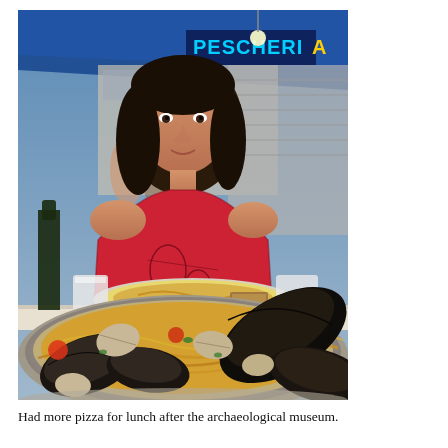[Figure (photo): A woman in a red patterned sleeveless top sitting at an outdoor restaurant table. In the foreground is a large pan of seafood pasta with mussels and clams. On the table behind is another plate of pasta and a white cup. In the background is a busy street restaurant scene with a blue awning and a sign reading 'PESCHERIA'.]
Had more pizza for lunch after the archaeological museum.